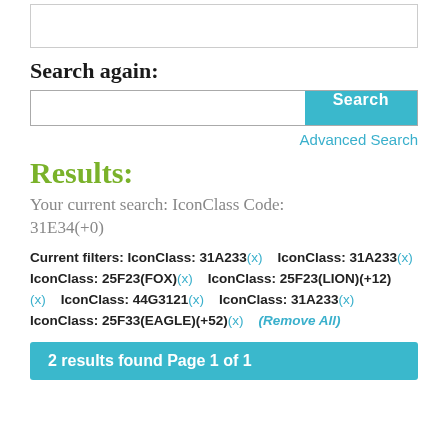[Figure (screenshot): Top portion of a web search interface, showing a partial search box]
Search again:
[Figure (screenshot): Search bar with text input and blue Search button]
Advanced Search
Results:
Your current search: IconClass Code: 31E34(+0)
Current filters: IconClass: 31A233(x)   IconClass: 31A233(x) IconClass: 25F23(FOX)(x)   IconClass: 25F23(LION)(+12)(x)   IconClass: 44G3121(x)   IconClass: 31A233(x) IconClass: 25F33(EAGLE)(+52)(x)   (Remove All)
2 results found Page 1 of 1